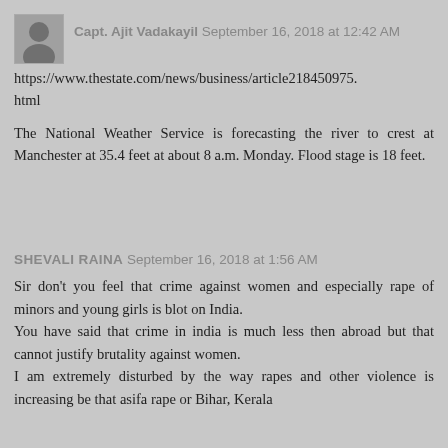Capt. Ajit Vadakayil  September 16, 2018 at 12:42 AM
https://www.thestate.com/news/business/article218450975.html
The National Weather Service is forecasting the river to crest at Manchester at 35.4 feet at about 8 a.m. Monday. Flood stage is 18 feet.
SHEVALI RAINA  September 16, 2018 at 1:56 AM
Sir don't you feel that crime against women and especially rape of minors and young girls is blot on India.
You have said that crime in india is much less then abroad but that cannot justify brutality against women.
I am extremely disturbed by the way rapes and other violence is increasing be that asifa rape or Bihar, Kerala